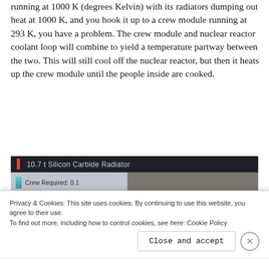running at 1000 K (degrees Kelvin) with its radiators dumping out heat at 1000 K, and you hook it up to a crew module running at 293 K, you have a problem. The crew module and nuclear reactor coolant loop will combine to yield a temperature partway between the two. This will still cool off the nuclear reactor, but then it heats up the crew module until the people inside are cooked.
[Figure (screenshot): Game UI screenshot showing '10.7 t Silicon Carbide Radiator' with Crew Required: 0.1 and Heat Dissipated fields, dark-themed interface]
Privacy & Cookies: This site uses cookies. By continuing to use this website, you agree to their use.
To find out more, including how to control cookies, see here: Cookie Policy
Close and accept